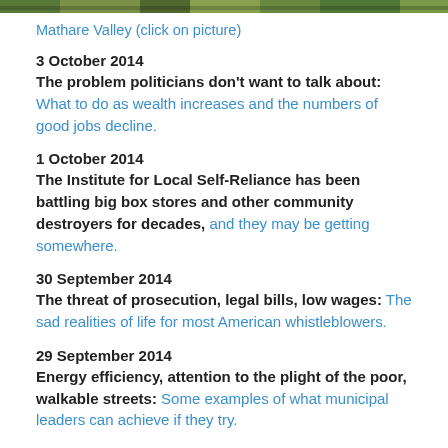[Figure (photo): A strip of a photo showing green vegetation, appears to be Mathare Valley]
Mathare Valley (click on picture)
3 October 2014
The problem politicians don't want to talk about: What to do as wealth increases and the numbers of good jobs decline.
1 October 2014
The Institute for Local Self-Reliance has been battling big box stores and other community destroyers for decades, and they may be getting somewhere.
30 September 2014
The threat of prosecution, legal bills, low wages: The sad realities of life for most American whistleblowers.
29 September 2014
Energy efficiency, attention to the plight of the poor, walkable streets: Some examples of what municipal leaders can achieve if they try.
26 September 2014